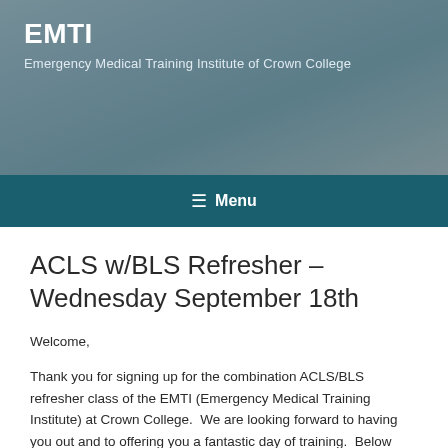EMTI
Emergency Medical Training Institute of Crown College
≡ Menu
ACLS w/BLS Refresher – Wednesday September 18th
Welcome,
Thank you for signing up for the combination ACLS/BLS refresher class of the EMTI (Emergency Medical Training Institute) at Crown College.  We are looking forward to having you out and to offering you a fantastic day of training.  Below you'll find our intro letter to the class with a link to the pretest and other pertinent information.